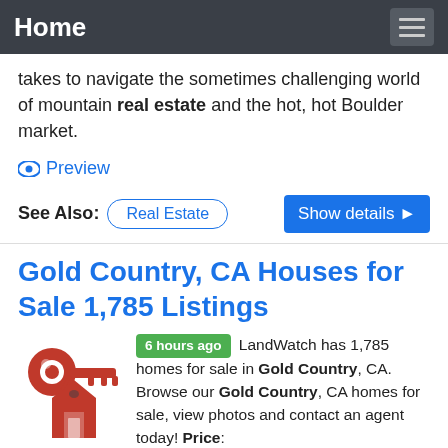Home
takes to navigate the sometimes challenging world of mountain real estate and the hot, hot Boulder market.
Preview
See Also: Real Estate   Show details ▶
Gold Country, CA Houses for Sale 1,785 Listings
6 hours ago LandWatch has 1,785 homes for sale in Gold Country, CA. Browse our Gold Country, CA homes for sale, view photos and contact an agent today! Price: High to Low; Price per Acre: Low to High Foresthill Divide is a remarkable piece of real estate that has potential to go in